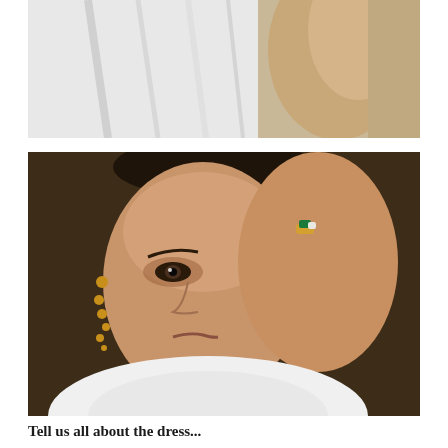[Figure (photo): Close-up photo showing white fabric/clothing on the left side with a person's bare arm and skin-toned background on the right side]
[Figure (photo): Portrait photo of a woman wearing a white turtleneck, holding her hand up to partially cover her face, showing a ring with green stone, and wearing gold dangling earrings, set against a dark brown background]
Tell us all about the dress...